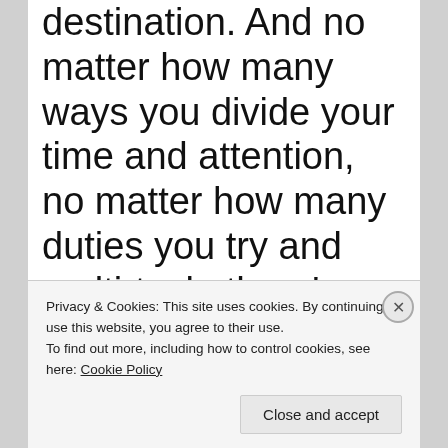destination. And no matter how many ways you divide your time and attention, no matter how many duties you try and multi-task, there’s never enough time in a day to ever catch up.
That was my life for two frantic years. My
Privacy & Cookies: This site uses cookies. By continuing to use this website, you agree to their use.
To find out more, including how to control cookies, see here: Cookie Policy
Close and accept